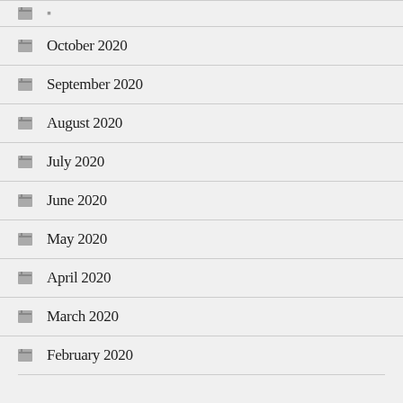October 2020
September 2020
August 2020
July 2020
June 2020
May 2020
April 2020
March 2020
February 2020